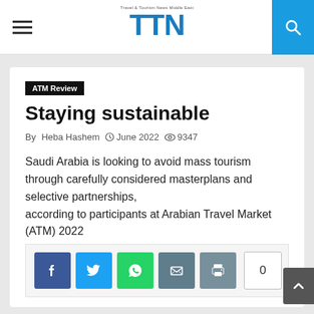TTN — Travel & Tourism News Middle East
ATM Review
Staying sustainable
By Heba Hashem  © June 2022  👁 9347
Saudi Arabia is looking to avoid mass tourism through carefully considered masterplans and selective partnerships, according to participants at Arabian Travel Market (ATM) 2022